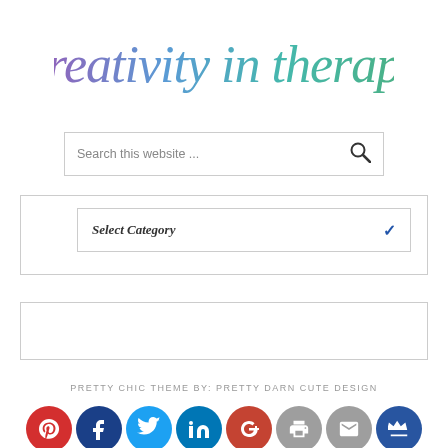[Figure (logo): Creativity in Therapy logo in colorful watercolor script lettering going from purple to teal/green]
Search this website ...
Select Category
[Figure (other): Empty banner/advertisement box]
PRETTY CHIC THEME BY: PRETTY DARN CUTE DESIGN
[Figure (infographic): Social media icon row: Pinterest (red), Facebook (dark blue), Twitter (light blue), LinkedIn (blue), Google+ (red-orange), Print (gray), Email (gray), Crown (dark blue)]